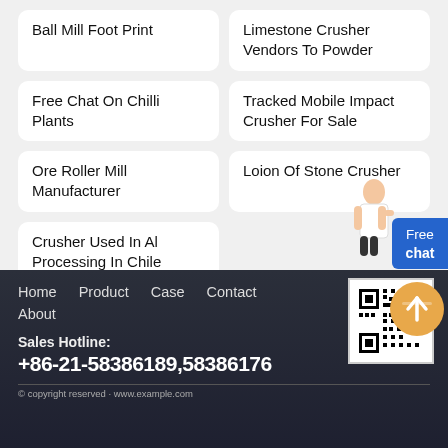Ball Mill Foot Print
Limestone Crusher Vendors To Powder
Free Chat On Chilli Plants
Tracked Mobile Impact Crusher For Sale
Ore Roller Mill Manufacturer
Loion Of Stone Crusher
Crusher Used In Al Processing In Chile
[Figure (other): Chat assistant character illustration with Free chat button]
[Figure (other): Scroll to top orange circular button with upward arrow]
Home   Product   Case   Contact   About   Sales Hotline: +86-21-58386189,58386176
[Figure (other): QR code in white box]